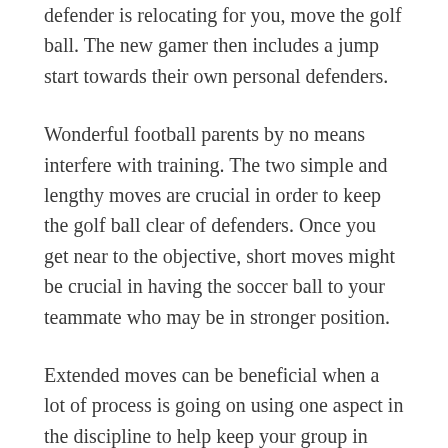defender is relocating for you, move the golf ball. The new gamer then includes a jump start towards their own personal defenders.
Wonderful football parents by no means interfere with training. The two simple and lengthy moves are crucial in order to keep the golf ball clear of defenders. Once you get near to the objective, short moves might be crucial in having the soccer ball to your teammate who may be in stronger position.
Extended moves can be beneficial when a lot of process is going on using one aspect in the discipline to help keep your group in charge of the soccer ball. You need to make choices swiftly once you enjoy. In the event you think twice to get a secondly, you take the danger to lose the tennis ball. Making fast selections can become less difficult when you practice and get